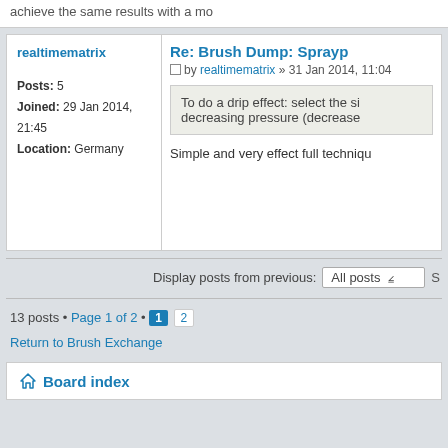achieve the same results with a mo
Re: Brush Dump: Sprayp
by realtimematrix » 31 Jan 2014, 11:04
realtimematrix
Posts: 5
Joined: 29 Jan 2014, 21:45
Location: Germany
To do a drip effect: select the si decreasing pressure (decrease
Simple and very effect full techniqu
Display posts from previous: All posts
13 posts • Page 1 of 2 • 1 2
Return to Brush Exchange
Board index